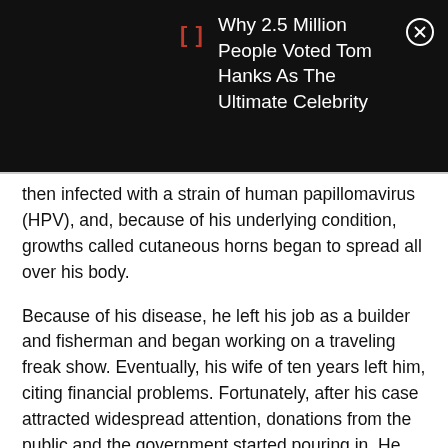Why 2.5 Million People Voted Tom Hanks As The Ultimate Celebrity
then infected with a strain of human papillomavirus (HPV), and, because of his underlying condition, growths called cutaneous horns began to spread all over his body.
Because of his disease, he left his job as a builder and fisherman and began working on a traveling freak show. Eventually, his wife of ten years left him, citing financial problems. Fortunately, after his case attracted widespread attention, donations from the public and the government started pouring in. He immediately received treatment, and after nine operations, more than eight kilograms of warts were removed from his body. This enabled Koswara to see the outlines of his hands and feet for the first time in about 20 years.